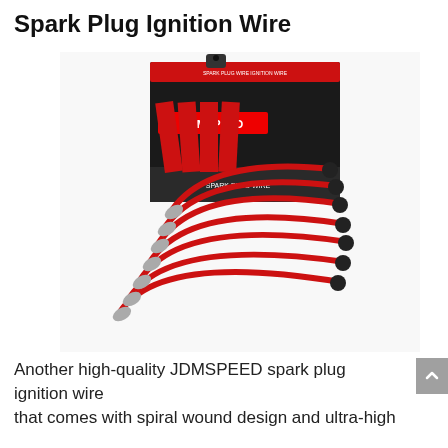Spark Plug Ignition Wire
[Figure (photo): Product photo of JDMSPEED spark plug ignition wire set — multiple red wires with black boots fanned out, with product packaging box (white and black with red accents, JDMSPEED branding) visible behind them.]
Another high-quality JDMSPEED spark plug ignition wire that comes with spiral wound design and ultra-high